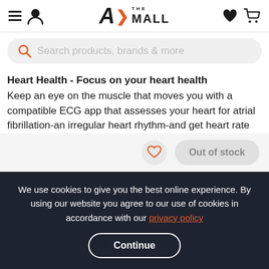A> THE MALL — navigation header with hamburger, user, wishlist, cart icons and logo
Search products, brands & more
Heart Health - Focus on your heart health
Keep an eye on the muscle that moves you with a compatible ECG app that assesses your heart for atrial fibrillation-an irregular heart rhythm-and get heart rate notifications that let you know when you're above or below a threshold...
Out of stock
We use cookies to give you the best online experience. By using our website you agree to our use of cookies in accordance with our privacy policy
Continue